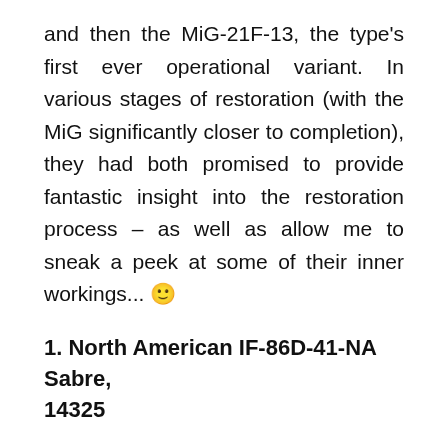and then the MiG-21F-13, the type's first ever operational variant. In various stages of restoration (with the MiG significantly closer to completion), they had both promised to provide fantastic insight into the restoration process – as well as allow me to sneak a peek at some of their inner workings... 🙂
1. North American IF-86D-41-NA Sabre, 14325
Even though it shares the name, designation and general stature of one of the West's most prominent fighters, the first machine